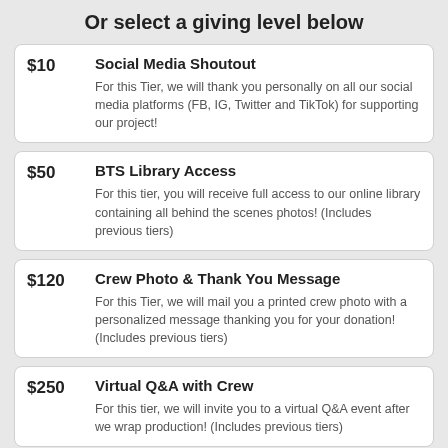Or select a giving level below
$10 | Social Media Shoutout | For this Tier, we will thank you personally on all our social media platforms (FB, IG, Twitter and TikTok) for supporting our project!
$50 | BTS Library Access | For this tier, you will receive full access to our online library containing all behind the scenes photos! (Includes previous tiers)
$120 | Crew Photo & Thank You Message | For this Tier, we will mail you a printed crew photo with a personalized message thanking you for your donation! (Includes previous tiers)
$250 | Virtual Q&A with Crew | For this tier, we will invite you to a virtual Q&A event after we wrap production! (Includes previous tiers)